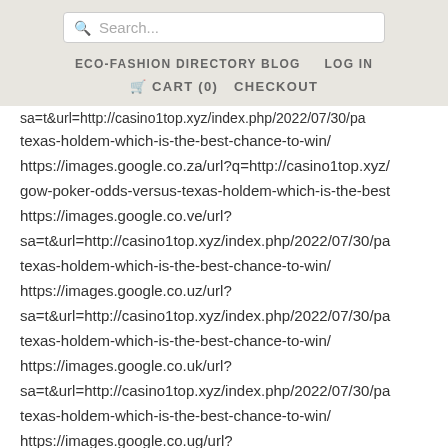Search... | ECO-FASHION DIRECTORY BLOG | LOG IN | CART (0) | CHECKOUT
sa=t&url=http://casino1top.xyz/index.php/2022/07/30/pa texas-holdem-which-is-the-best-chance-to-win/ https://images.google.co.za/url?q=http://casino1top.xyz/ gow-poker-odds-versus-texas-holdem-which-is-the-best https://images.google.co.ve/url? sa=t&url=http://casino1top.xyz/index.php/2022/07/30/pa texas-holdem-which-is-the-best-chance-to-win/ https://images.google.co.uz/url? sa=t&url=http://casino1top.xyz/index.php/2022/07/30/pa texas-holdem-which-is-the-best-chance-to-win/ https://images.google.co.uk/url? sa=t&url=http://casino1top.xyz/index.php/2022/07/30/pa texas-holdem-which-is-the-best-chance-to-win/ https://images.google.co.ug/url?